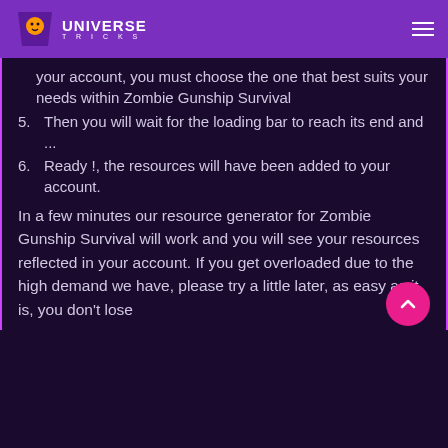UNIVERSE TRICKS
your account, you must choose the one that best suits your needs within Zombie Gunship Survival
5. Then you will wait for the loading bar to reach its end and ...
6. Ready !, the resources will have been added to your account.
In a few minutes our resource generator for Zombie Gunship Survival will work and you will see your resources reflected in your account. If you get overloaded due to the high demand we have, please try a little later, as easy as it is, you don't lose